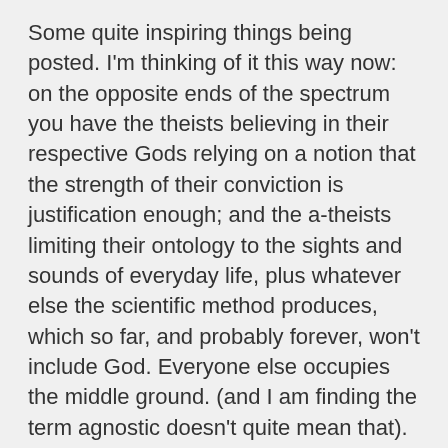Some quite inspiring things being posted. I'm thinking of it this way now: on the opposite ends of the spectrum you have the theists believing in their respective Gods relying on a notion that the strength of their conviction is justification enough; and the a-theists limiting their ontology to the sights and sounds of everyday life, plus whatever else the scientific method produces, which so far, and probably forever, won't include God. Everyone else occupies the middle ground. (and I am finding the term agnostic doesn't quite mean that).
So the problem with the atheist view (or at least this articulation of it), is that it isn't really what anyone believes, and smacks of the "impoverished" world-view of Carnap (quoting